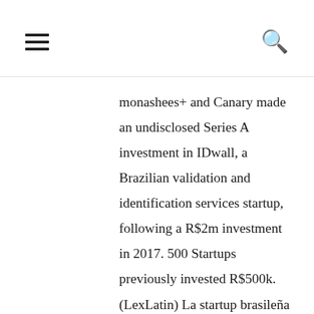[hamburger menu icon] [search icon]
monashees+ and Canary made an undisclosed Series A investment in IDwall, a Brazilian validation and identification services startup, following a R$2m investment in 2017. 500 Startups previously invested R$500k. (LexLatin) La startup brasileña especializada...
[Figure (photo): Smartphone displaying the SmartMEI app logo — a white phone icon with glasses and a smile on a green background, with the text SMARTMEI below.]